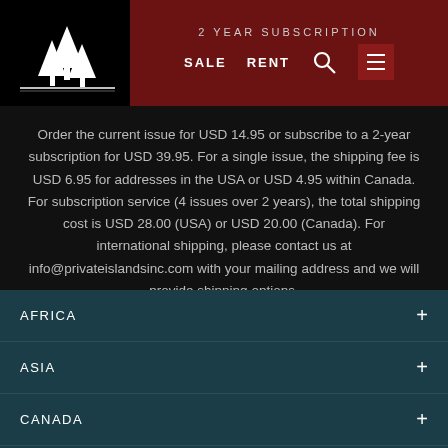2 YEAR SUBSCRIPTION  SALE  RENT
Order the current issue for USD 14.95 or subscribe to a 2-year subscription for USD 39.95. For a single issue, the shipping fee is USD 6.95 for addresses in the USA or USD 4.95 within Canada. For subscription service (4 issues over 2 years), the total shipping cost is USD 28.00 (USA) or USD 20.00 (Canada). For international shipping, please contact us at info@privateislandsinc.com with your mailing address and we will provide shipping options.
AFRICA
ASIA
CANADA
CARIBBEAN